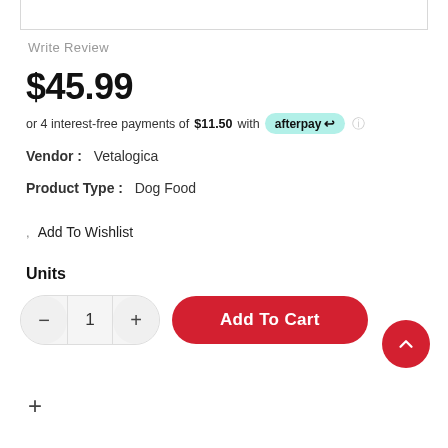Write Review
$45.99
or 4 interest-free payments of $11.50 with afterpay
Vendor :   Vetalogica
Product Type :   Dog Food
Add To Wishlist
Units
Add To Cart